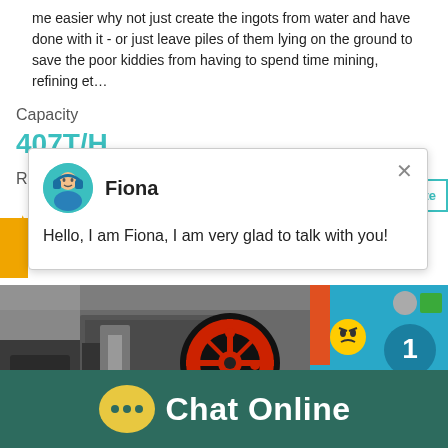me easier why not just create the ingots from water and have done with it - or just leave piles of them lying on the ground to save the poor kiddies from having to spend time mining, refining et…
Capacity
407T/H
Reviews
[Figure (screenshot): Chat popup with avatar of agent named Fiona and message 'Hello, I am Fiona, I am very glad to talk with you!' with close X button]
[Figure (photo): Industrial machinery photo showing jaw crusher/roller equipment in a factory setting]
[Figure (screenshot): Right panel showing teal/blue background with emoji face, number 1 badge, 'Click me to chat >>' button, and 'Enquiry' label]
Chat Online